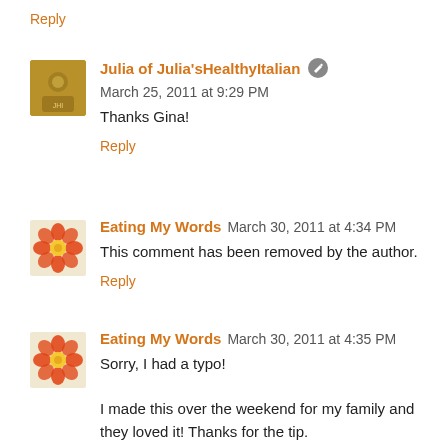Reply
Julia of Julia'sHealthyItalian  March 25, 2011 at 9:29 PM
Thanks Gina!
Reply
Eating My Words  March 30, 2011 at 4:34 PM
This comment has been removed by the author.
Reply
Eating My Words  March 30, 2011 at 4:35 PM
Sorry, I had a typo!
I made this over the weekend for my family and they loved it! Thanks for the tip.